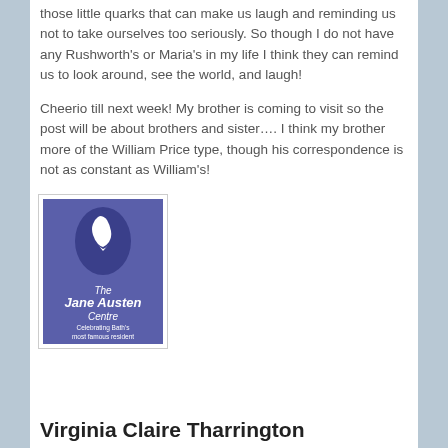those little quarks that can make us laugh and reminding us not to take ourselves too seriously. So though I do not have any Rushworth's or Maria's in my life I think they can remind us to look around, see the world, and laugh!
Cheerio till next week! My brother is coming to visit so the post will be about brothers and sister…. I think my brother more of the William Price type, though his correspondence is not as constant as William's!
[Figure (logo): The Jane Austen Centre logo — blue/purple square with white silhouette of Jane Austen in an oval medallion, text reads 'The Jane Austen Centre' and 'Celebrating Bath's most famous resident']
Virginia Claire Tharrington